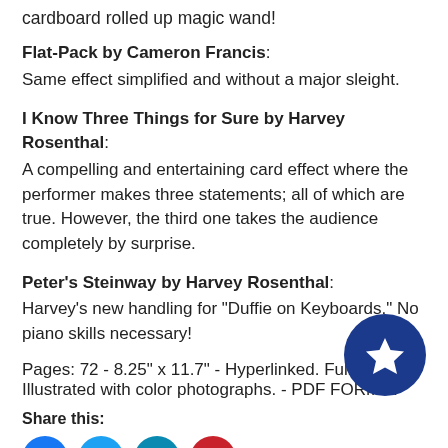cardboard rolled up magic wand!
Flat-Pack by Cameron Francis: Same effect simplified and without a major sleight.
I Know Three Things for Sure by Harvey Rosenthal: A compelling and entertaining card effect where the performer makes three statements; all of which are true. However, the third one takes the audience completely by surprise.
Peter's Steinway by Harvey Rosenthal: Harvey's new handling for "Duffie on Keyboards." No piano skills necessary!
Pages: 72 - 8.25" x 11.7" - Hyperlinked. Fully Illustrated with color photographs. - PDF FORMAT
Share this:
[Figure (illustration): Social media share icons: Facebook (blue), Twitter (light blue), LinkedIn (teal), Pinterest (red), and a dark blue star button on the right.]